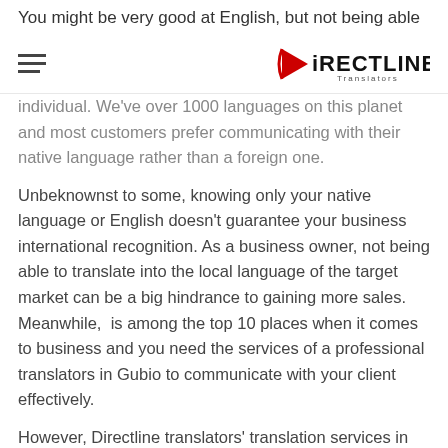You might be very good at English, but not being able to
[hamburger menu] [DirectLine Translators logo]
individual. We've over 1000 languages on this planet and most customers prefer communicating with their native language rather than a foreign one.
Unbeknownst to some, knowing only your native language or English doesn't guarantee your business international recognition. As a business owner, not being able to translate into the local language of the target market can be a big hindrance to gaining more sales. Meanwhile,  is among the top 10 places when it comes to business and you need the services of a professional translators in Gubio to communicate with your client effectively.
However, Directline translators' translation services in Gubio has brought a solution to that. By subscribing to our service,